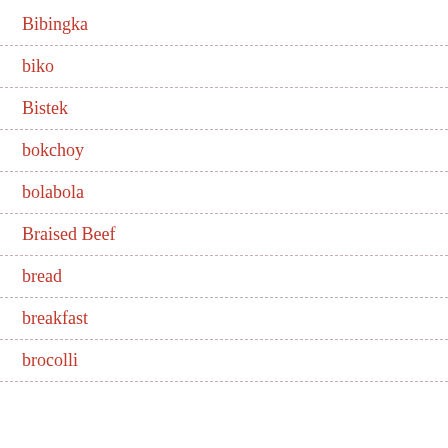Bibingka
biko
Bistek
bokchoy
bolabola
Braised Beef
bread
breakfast
brocolli